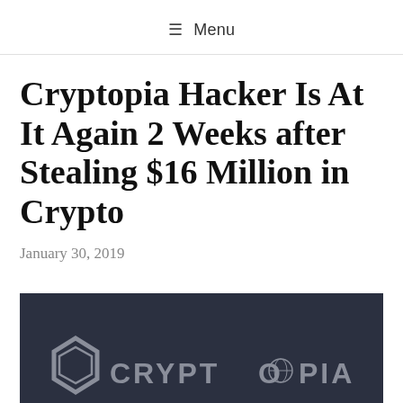≡ Menu
Cryptopia Hacker Is At It Again 2 Weeks after Stealing $16 Million in Crypto
January 30, 2019
[Figure (photo): Dark navy background with Cryptopia exchange logo (hexagon icon and CRYPTOPIA text in grey) visible at the bottom of the image]